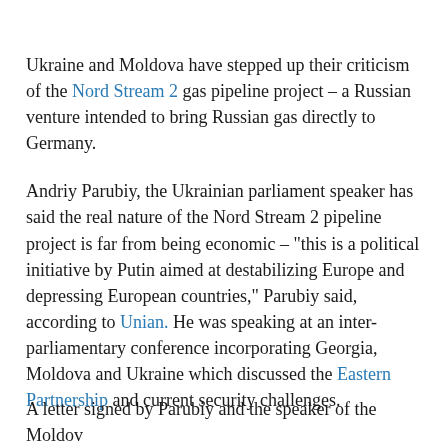Ukraine and Moldova have stepped up their criticism of the Nord Stream 2 gas pipeline project – a Russian venture intended to bring Russian gas directly to Germany.
Andriy Parubiy, the Ukrainian parliament speaker has said the real nature of the Nord Stream 2 pipeline project is far from being economic – "this is a political initiative by Putin aimed at destabilizing Europe and depressing European countries," Parubiy said, according to Unian. He was speaking at an inter-parliamentary conference incorporating Georgia, Moldova and Ukraine which discussed the Eastern Partnership and current security challenges.
A letter signed by Parubiy and the speaker of the Moldov...